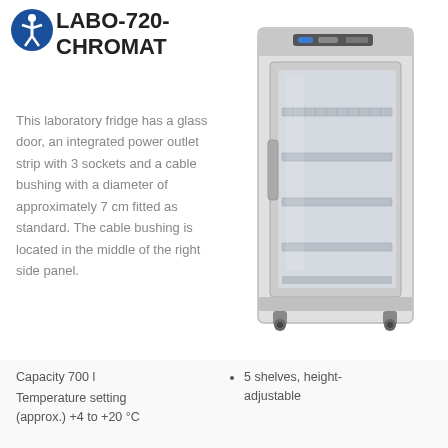LABO-720-CHROMAT
[Figure (logo): Accessibility icon - blue circle with white human figure]
This laboratory fridge has a glass door, an integrated power outlet strip with 3 sockets and a cable bushing with a diameter of approximately 7 cm fitted as standard. The cable bushing is located in the middle of the right side panel.
[Figure (photo): Laboratory refrigerator LABO-720-CHROMAT with glass door showing interior shelves, white exterior, mounted on casters, with digital control panel at top]
Capacity 700 l
Temperature setting (approx.) +4 to +20 °C
5 shelves, height-adjustable